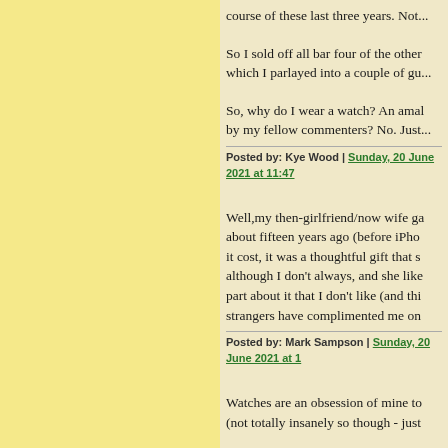course of these last three years. Not...
So I sold off all bar four of the other... which I parlayed into a couple of gu...
So, why do I wear a watch? An amal... by my fellow commenters? No. Just...
Posted by: Kye Wood | Sunday, 20 June 2021 at 11:47
Well,my then-girlfriend/now wife ga... about fifteen years ago (before iPho... it cost, it was a thoughtful gift that s... although I don't always, and she like... part about it that I don't like (and thi... strangers have complimented me on...
Posted by: Mark Sampson | Sunday, 20 June 2021 at 1...
Watches are an obsession of mine to... (not totally insanely so though - just...